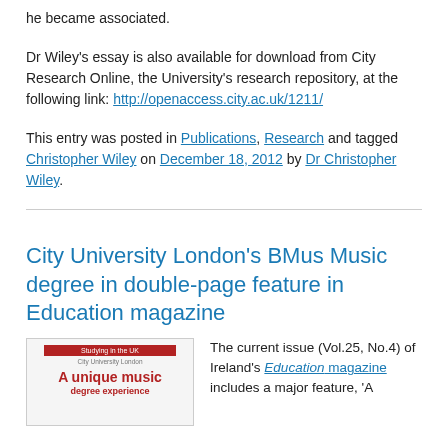he became associated.
Dr Wiley's essay is also available for download from City Research Online, the University's research repository, at the following link: http://openaccess.city.ac.uk/1211/
This entry was posted in Publications, Research and tagged Christopher Wiley on December 18, 2012 by Dr Christopher Wiley.
City University London's BMus Music degree in double-page feature in Education magazine
[Figure (photo): Cover of Education magazine featuring 'A unique music' text in red on white background with City University London branding]
The current issue (Vol.25, No.4) of Ireland's Education magazine includes a major feature, 'A